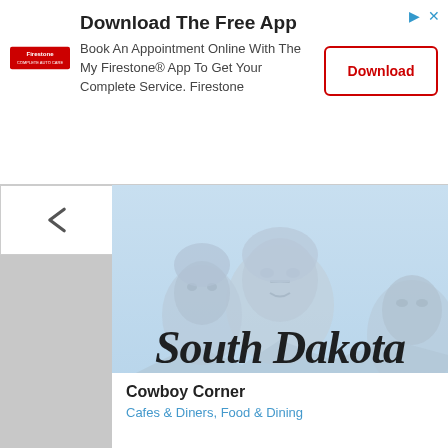[Figure (screenshot): Advertisement banner for Firestone app with logo, text and download button]
[Figure (photo): SouthDakota.com logo overlaid on a light blue image of Mount Rushmore]
Cowboy Corner
Cafes & Diners, Food & Dining